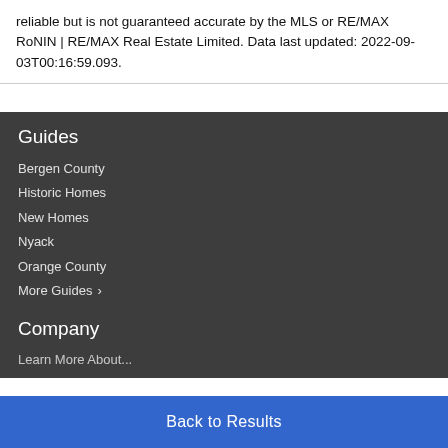reliable but is not guaranteed accurate by the MLS or RE/MAX RoNIN | RE/MAX Real Estate Limited. Data last updated: 2022-09-03T00:16:59.093.
Guides
Bergen County
Historic Homes
New Homes
Nyack
Orange County
More Guides ›
Company
Learn More About...
Back to Results